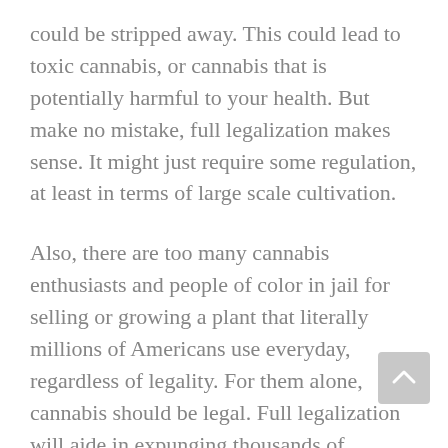could be stripped away. This could lead to toxic cannabis, or cannabis that is potentially harmful to your health. But make no mistake, full legalization makes sense. It might just require some regulation, at least in terms of large scale cultivation.
Also, there are too many cannabis enthusiasts and people of color in jail for selling or growing a plant that literally millions of Americans use everyday, regardless of legality. For them alone, cannabis should be legal. Full legalization will aide in expunging thousands of criminal records and letting possibly thousands more out of prison. These are not major criminals, but low-level offenders. Dealers and growers of